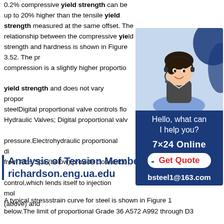0.2% compressive yield strength can be up to 20% higher than the tensile yield strength measured at the same offset. The relationship between the compressive yield strength and hardness is shown in Figure 3.52. The proof stress in compression is a slightly higher proportion of the tensile yield strength and does not vary proportionately with steel. Digital proportional valve controls flow; Hydraulic Valves; Digital proportional valve controls pressure. Electrohydraulic proportional directional valves from Atos Spa (below) provide closed-loop pressure control,which lends itself to injection molding (above) and
[Figure (photo): Advertisement banner with a customer service representative wearing a headset. Blue background with text 'Hello, what can I help you?', '7x24 Online', 'Get Quote' button, and 'bsteel1@163.com' contact info.]
Analysis of Tension Members - richardson.eng.ua.edu
A typical stressstrain curve for steel is shown in Figure 1 below.The limit of proportional Grade 36 A572 A992 through D3